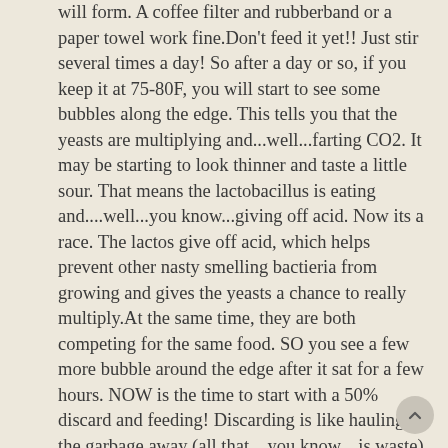will form. A coffee filter and rubberband or a paper towel work fine.Don't feed it yet!! Just stir several times a day! So after a day or so, if you keep it at 75-80F, you will start to see some bubbles along the edge. This tells you that the yeasts are multiplying and...well...farting CO2. It may be starting to look thinner and taste a little sour. That means the lactobacillus is eating and....well...you know...giving off acid. Now its a race. The lactos give off acid, which helps prevent other nasty smelling bactieria from growing and gives the yeasts a chance to really multiply.At the same time, they are both competing for the same food. SO you see a few more bubble around the edge after it sat for a few hours. NOW is the time to start with a 50% discard and feeding! Discarding is like hauling the garbage away (all that... you know... is waste) and clearing space for more yeasties and lactos to grow.If you discard and feed it too soon, you are reducing the yeast population by too much. It will eventually develop but it will take 3-4 weeks. SO now, you have an active population and for a while the lactos will grow faster than the yeasties. You will see a sudden